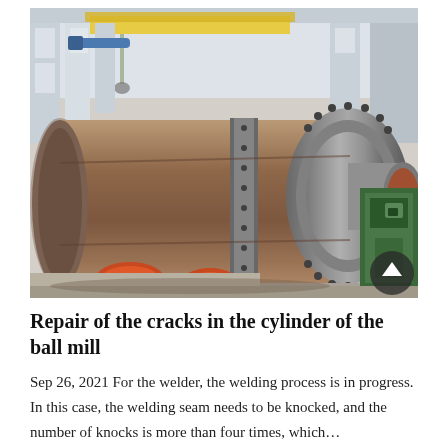[Figure (photo): Large industrial ball mill cylinder in a manufacturing facility. The cylindrical vessel is resting on orange support rollers and a green lathe/machining apparatus. Overhead cranes and yellow structural beams are visible. The mill has large flanged end caps with bolt holes.]
Repair of the cracks in the cylinder of the ball mill
Sep 26, 2021 For the welder, the welding process is in progress. In this case, the welding seam needs to be knocked, and the number of knocks is more than four times, which...